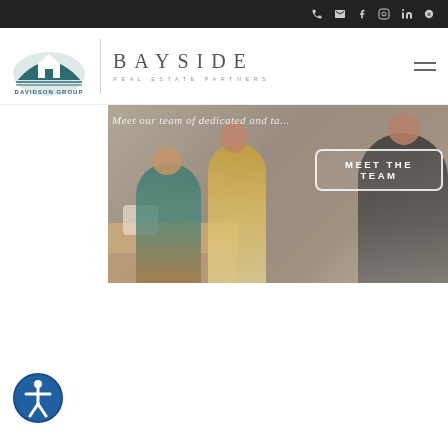Top navigation bar with phone, email, Facebook, Instagram, LinkedIn, Yelp icons
[Figure (logo): Davidson Group logo with house/arch icon and Bayside Real Estate Partners wordmark]
[Figure (photo): Team photo of women sitting on a couch with overlay text 'Meet our team of dedicated and tal...' and a MEET THE TEAM button]
[Figure (logo): Accessibility icon button (circular blue button with person icon) at bottom left]